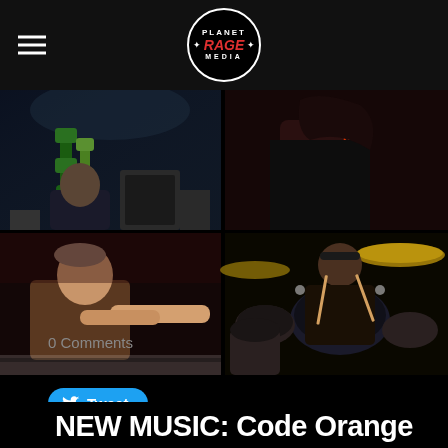Planet Rage Media
[Figure (photo): Four-panel photo grid: top-left shows a bassist with green double-neck guitar on stage; top-right shows a performer with red feather and colorful wristbands; bottom-left shows a pianist/musician at a keyboard in brown shirt; bottom-right shows a drummer with cymbals.]
Tweet
0 Comments
NEW MUSIC: Code Orange